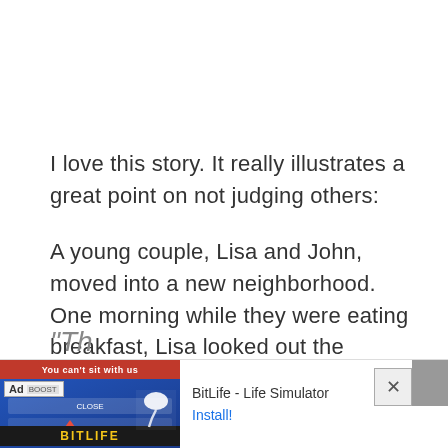I love this story. It really illustrates a great point on not judging others:
A young couple, Lisa and John, moved into a new neighborhood. One morning while they were eating breakfast, Lisa looked out the window and watched her next-door neighbor hanging out her wash.
[Figure (screenshot): Mobile advertisement banner for BitLife - Life Simulator app with ad label, app icon, app name, and Install button. Also shows a close (X) button.]